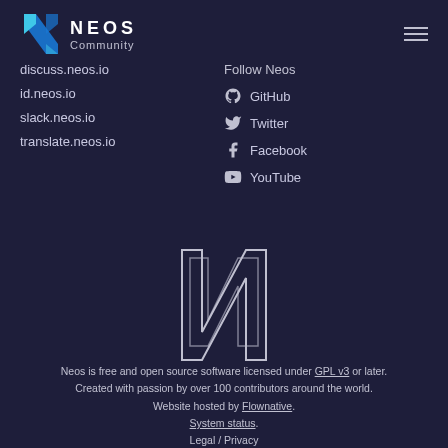[Figure (logo): Neos Community logo with stylized N in blue/teal and text NEOS Community]
Follow Neos
discuss.neos.io
id.neos.io
slack.neos.io
translate.neos.io
GitHub
Twitter
Facebook
YouTube
[Figure (logo): Large Neos N logo outline in center of page]
Neos is free and open source software licensed under GPL v3 or later. Created with passion by over 100 contributors around the world. Website hosted by Flownative. System status. Legal / Privacy